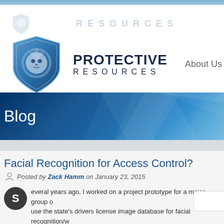RESOURCES
[Figure (logo): Protective Resources logo with blue lion shield emblem and bold company name text 'PROTECTIVE RESOURCES']
About Us
Blog
Facial Recognition for Access Control?
Posted by Zack Hamm on January 23, 2015
everal years ago, I worked on a project prototype for a major group o... use the state's drivers license image database for facial recognition/w... and the eventual use for identity verification for critical card access points. Th...